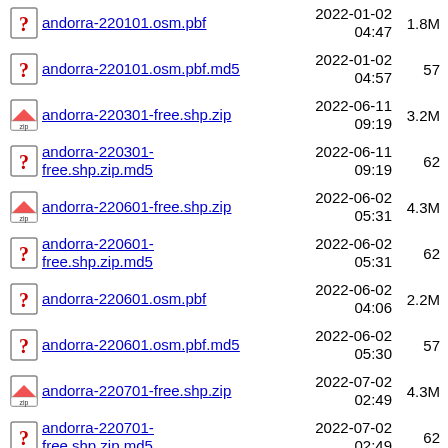andorra-220101.osm.pbf  2022-01-02 04:47  1.8M
andorra-220101.osm.pbf.md5  2022-01-02 04:57  57
andorra-220301-free.shp.zip  2022-06-11 09:19  3.2M
andorra-220301-free.shp.zip.md5  2022-06-11 09:19  62
andorra-220601-free.shp.zip  2022-06-02 05:31  4.3M
andorra-220601-free.shp.zip.md5  2022-06-02 05:31  62
andorra-220601.osm.pbf  2022-06-02 04:06  2.2M
andorra-220601.osm.pbf.md5  2022-06-02 05:30  57
andorra-220701-free.shp.zip  2022-07-02 02:49  4.3M
andorra-220701-free.shp.zip.md5  2022-07-02 02:49  62
andorra-220701.osm.pbf  2022-07-02 02:15  2.2M
andorra-220701.osm.pbf.md5  2022-07-02 ...